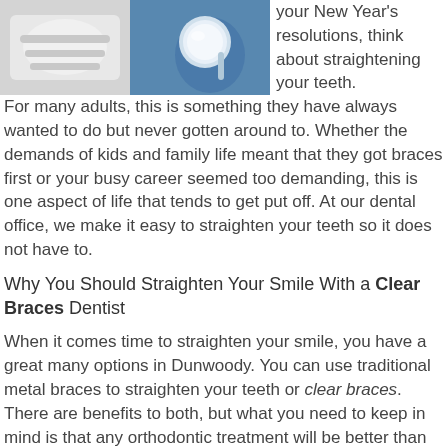[Figure (photo): Two side-by-side dental/medical photos: left shows white dental molds or trays on a surface, right shows a gloved hand holding a round dental mirror or tray against a blue background.]
your New Year's resolutions, think about straightening your teeth. For many adults, this is something they have always wanted to do but never gotten around to. Whether the demands of kids and family life meant that they got braces first or your busy career seemed too demanding, this is one aspect of life that tends to get put off. At our dental office, we make it easy to straighten your teeth so it does not have to.
Why You Should Straighten Your Smile With a Clear Braces Dentist
When it comes time to straighten your smile, you have a great many options in Dunwoody. You can use traditional metal braces to straighten your teeth or clear braces. There are benefits to both, but what you need to keep in mind is that any orthodontic treatment will be better than continuing to live with crooked teeth, gaps in between them, or a smile that causes you embarrassment